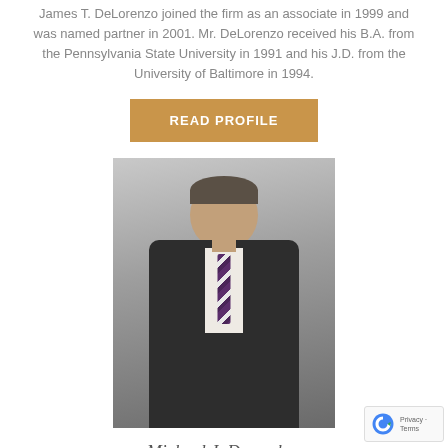James T. DeLorenzo joined the firm as an associate in 1999 and was named partner in 2001. Mr. DeLorenzo received his B.A. from the Pennsylvania State University in 1991 and his J.D. from the University of Baltimore in 1994.
[Figure (other): A gold/tan rectangular button with white bold uppercase text reading READ PROFILE]
[Figure (photo): Professional headshot of a man in a dark suit, white dress shirt, and striped purple/white tie, smiling, against a gray background]
Michael J. Dempsher